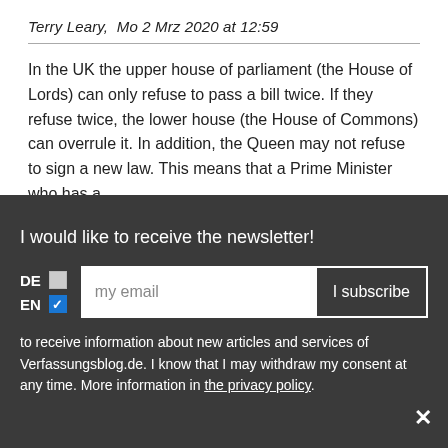Terry Leary, Mo 2 Mrz 2020 at 12:59
In the UK the upper house of parliament (the House of Lords) can only refuse to pass a bill twice. If they refuse twice, the lower house (the House of Commons) can overrule it. In addition, the Queen may not refuse to sign a new law. This means that a Prime Minister who has a
I would like to receive the newsletter!
DE
EN
my email
I subscribe
to receive information about new articles and services of Verfassungsblog.de. I know that I may withdraw my consent at any time. More information in the privacy policy.